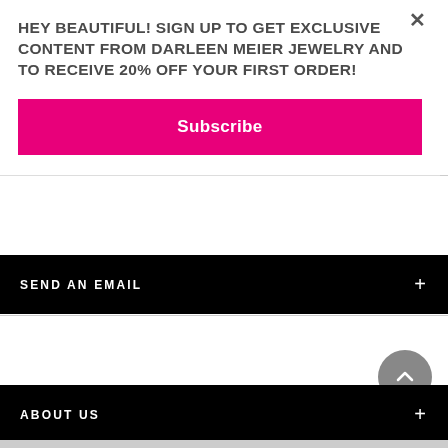HEY BEAUTIFUL! SIGN UP TO GET EXCLUSIVE CONTENT FROM DARLEEN MEIER JEWELRY AND TO RECEIVE 20% OFF YOUR FIRST ORDER!
Subscribe
SEND AN EMAIL
ABOUT US